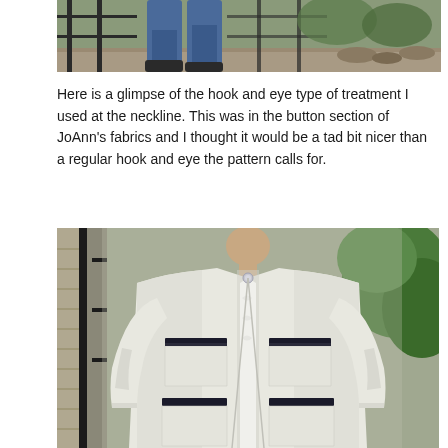[Figure (photo): Partial photo at top showing person's lower body in jeans near a black metal fence with gravel/garden background]
Here is a glimpse of the hook and eye type of treatment I used at the neckline. This was in the button section of JoAnn's fabrics and I thought it would be a tad bit nicer than a regular hook and eye the pattern calls for.
[Figure (photo): Photo of a woman wearing a white/cream textured jacket with black trim accents on four patch pockets and a small decorative hook-and-eye closure at the neckline, over a white shirt, outdoors with fence and greenery in background]